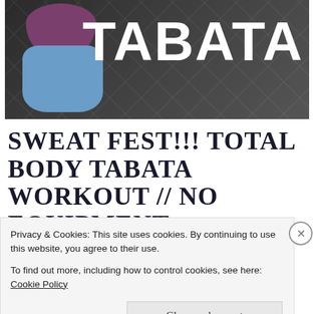[Figure (photo): Fitness/workout hero image with a woman in purple sports bra and blue shorts on dark geometric background with 'TABATA' text in large white bold letters]
SWEAT FEST!!! TOTAL BODY TABATA WORKOUT // NO EQUIPMENT
Posted on October 10, 2021 in 20 Minute Workouts
Privacy & Cookies: This site uses cookies. By continuing to use this website, you agree to their use.
To find out more, including how to control cookies, see here: Cookie Policy
Close and accept